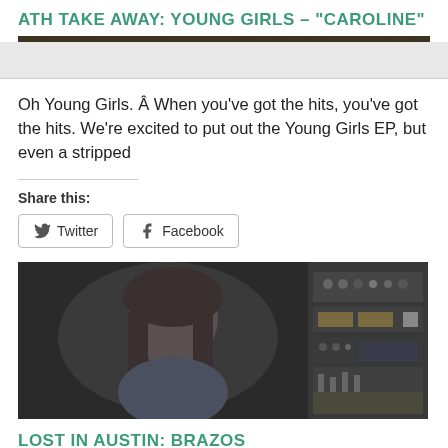ATH TAKE AWAY: YOUNG GIRLS – "CAROLINE"
Oh Young Girls. Â When you've got the hits, you've got the hits. We're excited to put out the Young Girls EP, but even a stripped
Share this:
[Figure (screenshot): Twitter and Facebook share buttons]
[Figure (photo): A person with long hair looking down in a recording studio with audio equipment in the background]
LOST IN AUSTIN: BRAZOS